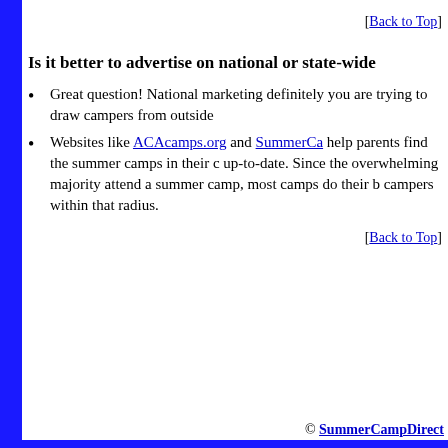[Back to Top]
Is it better to advertise on national or state-wide
Great question! National marketing definitely you are trying to draw campers from outside
Websites like ACAcamps.org and SummerCa help parents find the summer camps in their c up-to-date. Since the overwhelming majority attend a summer camp, most camps do their b campers within that radius.
[Back to Top]
© SummerCampDirect